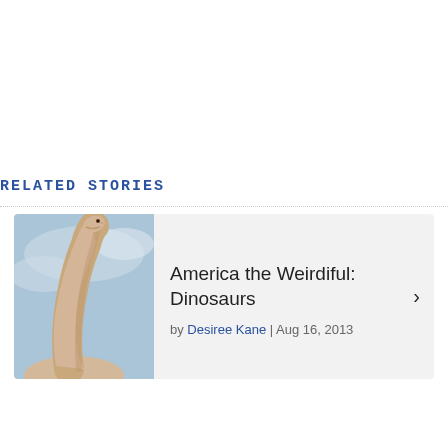RELATED STORIES
[Figure (illustration): Painting of a long-necked dinosaur (brachiosaurus/sauropod) with a pale tan neck against a blue sky background]
America the Weirdiful: Dinosaurs
by Desiree Kane | Aug 16, 2013